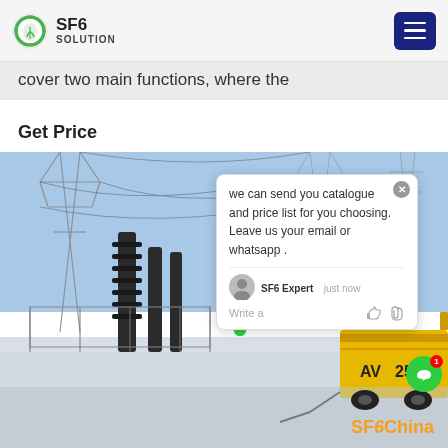SF6 SOLUTION
cover two main functions, where the
Get Price
[Figure (photo): Photo of a high-voltage electrical substation in winter with snow on the ground and a yellow truck (marked AV 2578) connected by cables. Large transmission towers and insulators are visible in the background under a blue sky. A chat popup overlay reads: 'we can send you catalogue and price list for you choosing. Leave us your email or whatsapp.' attributed to SF6 Expert, just now. SF6China watermark visible in orange at bottom right.]